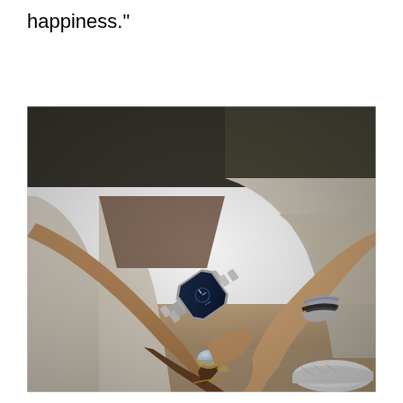happiness."
[Figure (photo): A close-up photo of two people holding hands outdoors. The person on the left wears white pants and has a silver luxury watch (appears to be a Patek Philippe Nautilus) on their wrist along with silver bracelets. The person on the right has a darker skin tone and is wearing a large oval diamond engagement ring and a decorative band ring on their ring finger, as well as a delicate bracelet. They are seated together with sandy/rocky ground visible below.]